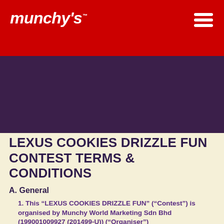munchy's
LEXUS COOKIES DRIZZLE FUN CONTEST TERMS & CONDITIONS
A. General
1. This “LEXUS COOKIES DRIZZLE FUN” (“Contest”) is organised by Munchy World Marketing Sdn Bhd (199001009927 (201499-U)) (“Organiser”)
2. The Contest is subject to the terms and conditions stated herein and the Organiser reserves the right to vary, add, modify and/or alter these terms and conditions as and when it deems